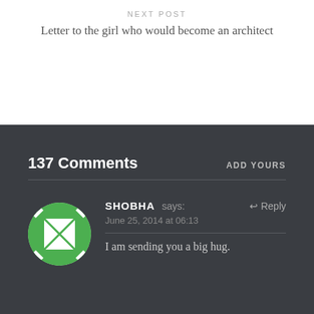NEXT POST
Letter to the girl who would become an architect
137 Comments
ADD YOURS
SHOBHA says:
June 25, 2014 at 06:13
I am sending you a big hug.